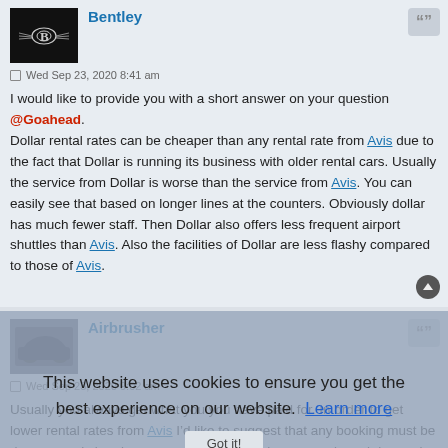Bentley
Wed Sep 23, 2020 8:41 am
I would like to provide you with a short answer on your question @Goahead. Dollar rental rates can be cheaper than any rental rate from Avis due to the fact that Dollar is running its business with older rental cars. Usually the service from Dollar is worse than the service from Avis. You can easily see that based on longer lines at the counters. Obviously dollar has much fewer staff. Then Dollar also offers less frequent airport shuttles than Avis. Also the facilities of Dollar are less flashy compared to those of Avis.
Airbrusher
Wed Sep 23, 2020 9:02 am
This website uses cookies to ensure you get the best experience on our website. Learn more
Usually you always get what you you have paid for. In order to get lower rental rates from Avis I’d like to suggest that any booking must be done as early in advance as possible. It’s always supply and demand. The more people book the higher the prices become. Therefore with abooking